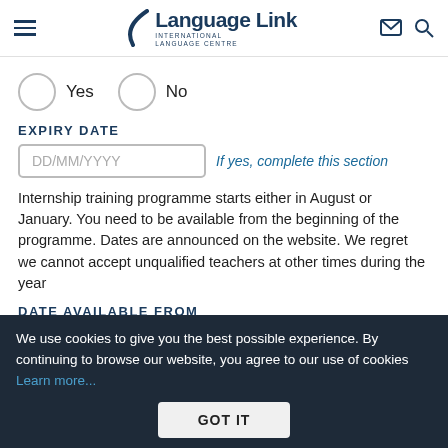Language Link International Language Centre
Yes   No
EXPIRY DATE
DD/MM/YYYY  If yes, complete this section
Internship training programme starts either in August or January. You need to be available from the beginning of the programme. Dates are announced on the website. We regret we cannot accept unqualified teachers at other times during the year
DATE AVAILABLE FROM
We use cookies to give you the best possible experience. By continuing to browse our website, you agree to our use of cookies Learn more...
GOT IT